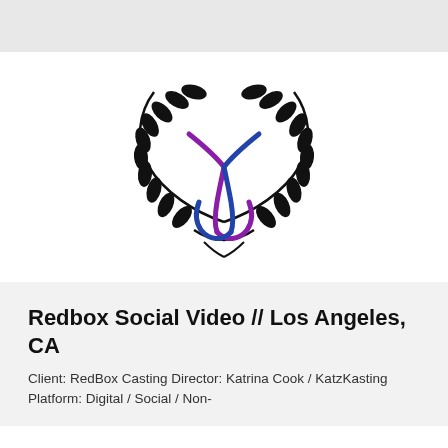[Figure (logo): Laurel wreath logo with crossed purple and blue ribbon/bow shapes in the center, forming a stylized K or X shape. The wreath branches are black with leaf details.]
Redbox Social Video // Los Angeles, CA
Client: RedBox Casting Director: Katrina Cook / KatzKasting Platform: Digital / Social / Non-